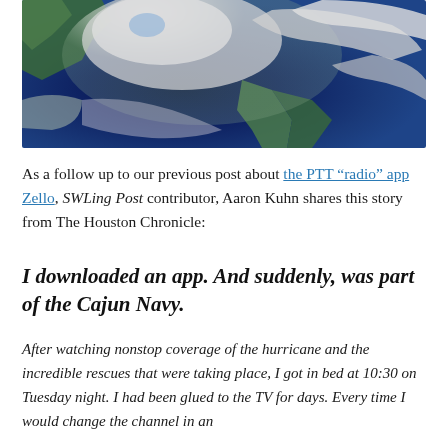[Figure (photo): Satellite image of a hurricane over the Gulf of Mexico, showing a large spiral storm system with cloud formations over land and ocean.]
As a follow up to our previous post about the PTT “radio” app Zello, SWLing Post contributor, Aaron Kuhn shares this story from The Houston Chronicle:
I downloaded an app. And suddenly, was part of the Cajun Navy.
After watching nonstop coverage of the hurricane and the incredible rescues that were taking place, I got in bed at 10:30 on Tuesday night. I had been glued to the TV for days. Every time I would change the channel in an